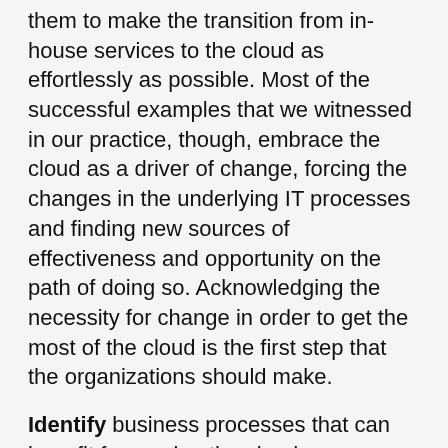them to make the transition from in-house services to the cloud as effortlessly as possible. Most of the successful examples that we witnessed in our practice, though, embrace the cloud as a driver of change, forcing the changes in the underlying IT processes and finding new sources of effectiveness and opportunity on the path of doing so. Acknowledging the necessity for change in order to get the most of the cloud is the first step that the organizations should make.
Identify business processes that can benefit from using the cloud.
For each business process, one should keep in mind the reason to use the cloud in the first place. Possible reasons for using the cloud include: